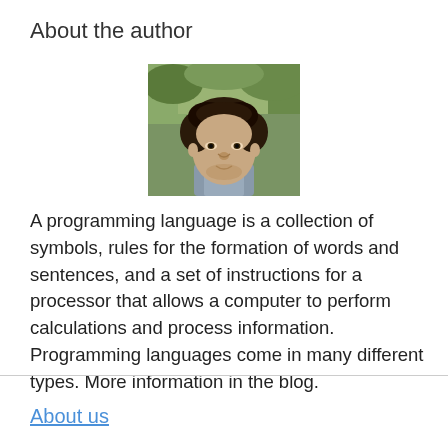About the author
[Figure (photo): Head and shoulders photo of a young man with curly dark hair, outdoor background with green foliage]
A programming language is a collection of symbols, rules for the formation of words and sentences, and a set of instructions for a processor that allows a computer to perform calculations and process information. Programming languages come in many different types. More information in the blog.
About us